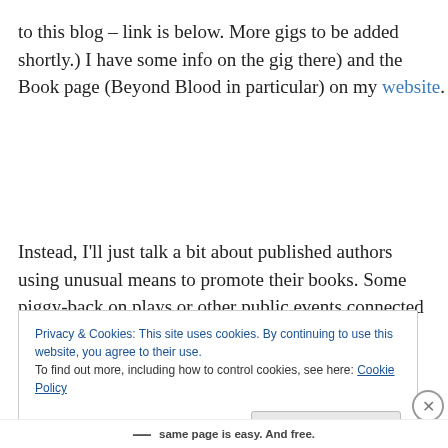to this blog – link is below. More gigs to be added shortly.) I have some info on the gig there) and the Book page (Beyond Blood in particular) on my website.
Instead, I'll just talk a bit about published authors using unusual means to promote their books. Some piggy-back on plays or other public events connected to their book's contents; others start anthologies to help showcase theirs
Privacy & Cookies: This site uses cookies. By continuing to use this website, you agree to their use.
To find out more, including how to control cookies, see here: Cookie Policy
Close and accept
same page is easy. And free.